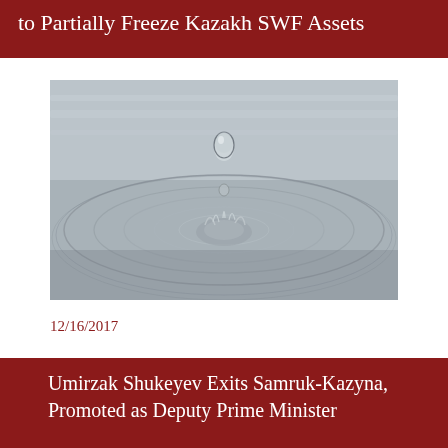to Partially Freeze Kazakh SWF Assets
[Figure (photo): Close-up black and white photograph of a water drop falling into a still water surface, creating circular ripples. The droplet is suspended mid-air above the impact point.]
12/16/2017
Umirzak Shukeyev Exits Samruk-Kazyna, Promoted as Deputy Prime Minister